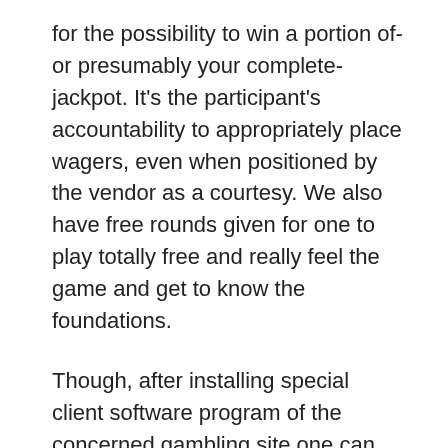for the possibility to win a portion of-or presumably your complete-jackpot. It's the participant's accountability to appropriately place wagers, even when positioned by the vendor as a courtesy. We also have free rounds given for one to play totally free and really feel the game and get to know the foundations.
Though, after installing special client software program of the concerned gambling site one can play online casino sooner and glitch free. Gamers can double down with two or extra cards on any whole (including after splitting, however excluding blackjacks). Most outstanding amongst their Slot games are their branded exclusives equivalent to Pink Panther, Rocky, Blade, X-Men, The Incredible